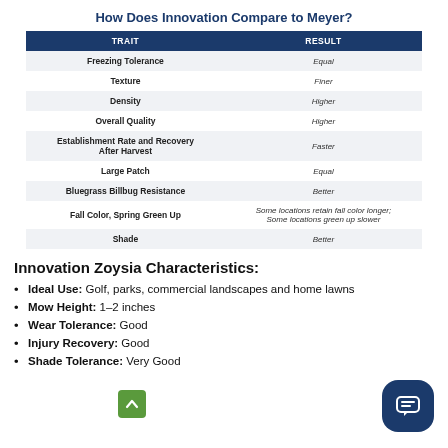How Does Innovation Compare to Meyer?
| TRAIT | RESULT |
| --- | --- |
| Freezing Tolerance | Equal |
| Texture | Finer |
| Density | Higher |
| Overall Quality | Higher |
| Establishment Rate and Recovery After Harvest | Faster |
| Large Patch | Equal |
| Bluegrass Billbug Resistance | Better |
| Fall Color, Spring Green Up | Some locations retain fall color longer; Some locations green up slower |
| Shade | Better |
Innovation Zoysia Characteristics:
Ideal Use: Golf, parks, commercial landscapes and home lawns
Mow Height: 1–2 inches
Wear Tolerance: Good
Injury Recovery: Good
Shade Tolerance: Very Good